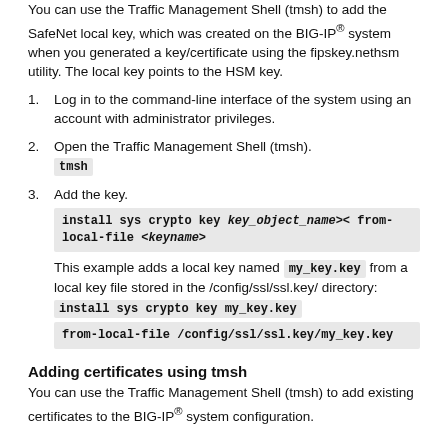You can use the Traffic Management Shell (tmsh) to add the SafeNet local key, which was created on the BIG-IP® system when you generated a key/certificate using the fipskey.nethsm utility. The local key points to the HSM key.
1. Log in to the command-line interface of the system using an account with administrator privileges.
2. Open the Traffic Management Shell (tmsh). [code: tmsh]
3. Add the key. [code: install sys crypto key key_object_name>< from-local-file <keyname>] This example adds a local key named my_key.key from a local key file stored in the /config/ssl/ssl.key/ directory: [code: install sys crypto key my_key.key from-local-file /config/ssl/ssl.key/my_key.key]
Adding certificates using tmsh
You can use the Traffic Management Shell (tmsh) to add existing certificates to the BIG-IP® system configuration.